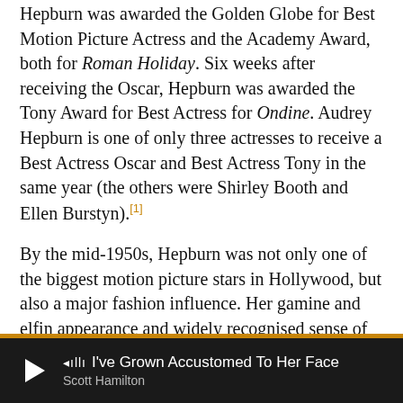Hepburn was awarded the Golden Globe for Best Motion Picture Actress and the Academy Award, both for Roman Holiday. Six weeks after receiving the Oscar, Hepburn was awarded the Tony Award for Best Actress for Ondine. Audrey Hepburn is one of only three actresses to receive a Best Actress Oscar and Best Actress Tony in the same year (the others were Shirley Booth and Ellen Burstyn).[1]
By the mid-1950s, Hepburn was not only one of the biggest motion picture stars in Hollywood, but also a major fashion influence. Her gamine and elfin appearance and widely recognised sense of chic were both admired and imitated. In 1955, she was awarded the Golden Globe for World Film Favorite – Female.[34]
Having become one of Hollywood's most popular box-office attractions, Hepburn co-starred with actors such as Humphrey Bogart in Sabrina, Henry Fonda in War and
[Figure (other): Media player bar at bottom showing play button, sound wave icon, track title 'I've Grown Accustomed To Her Face' and artist name 'Scott Hamilton' on dark background]